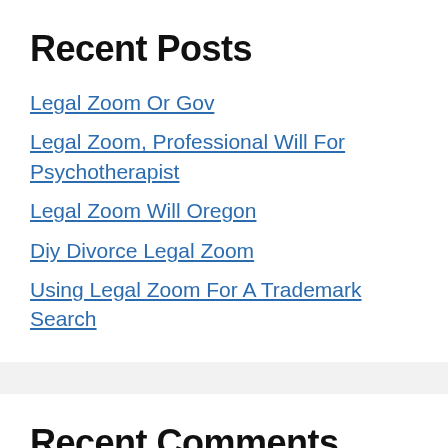Recent Posts
Legal Zoom Or Gov
Legal Zoom, Professional Will For Psychotherapist
Legal Zoom Will Oregon
Diy Divorce Legal Zoom
Using Legal Zoom For A Trademark Search
Recent Comments
No comments to show.